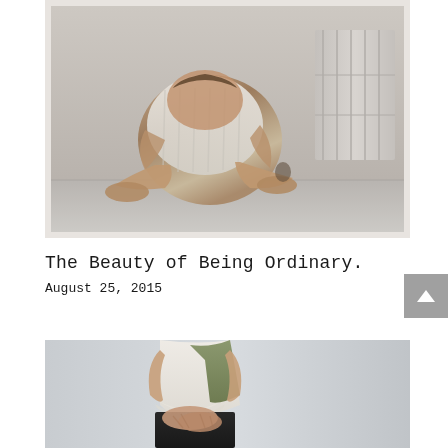[Figure (photo): Black and white/muted color photograph of a person sitting curled up on a floor, knees drawn up, wearing shorts, with bare feet, positioned against a white wall or door with a radiator visible in the background. The image has a contemplative, introspective mood.]
The Beauty of Being Ordinary.
August 25, 2015
[Figure (photo): Photograph showing a person from the torso down, wearing a white lace/ruffled top tucked into dark pants/skirt, hands clasped in front, standing against a light gray wall. The image conveys vulnerability and ordinariness.]